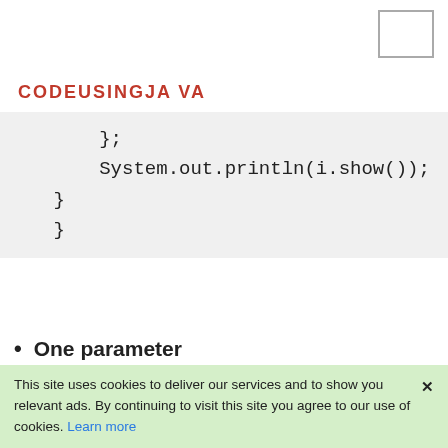CODEUSINGJA VA
};
    System.out.println(i.show());
}
}
One parameter
In one parameter ,we can passone single parameter
(p) -> System.out.println("one p
Example:
This site uses cookies to deliver our services and to show you relevant ads. By continuing to visit this site you agree to our use of cookies. Learn more